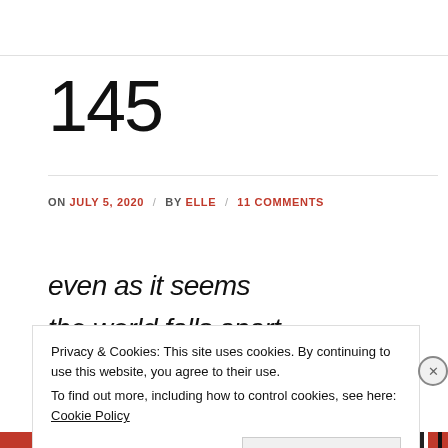145
ON JULY 5, 2020 / BY ELLE / 11 COMMENTS
even as it seems
the world falls apart
Privacy & Cookies: This site uses cookies. By continuing to use this website, you agree to their use.
To find out more, including how to control cookies, see here: Cookie Policy
Close and accept